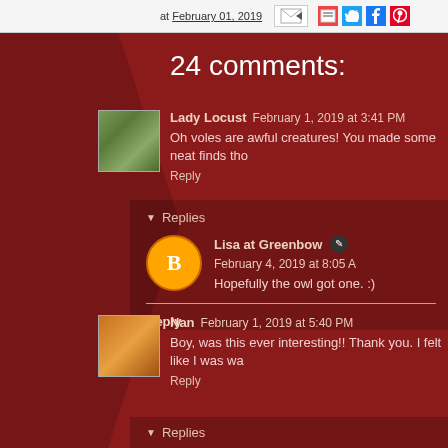at February 01, 2019
24 comments:
Lady Locust  February 1, 2019 at 3:41 PM
Oh voles are awful creatures! You made some neat finds tho
Reply
Replies
Lisa at Greenbow  February 4, 2019 at 8:05 A
Hopefully the owl got one. :)
Reply
Nan  February 1, 2019 at 5:40 PM
Boy, was this ever interesting!! Thank you. I felt like I was wa
Reply
Replies